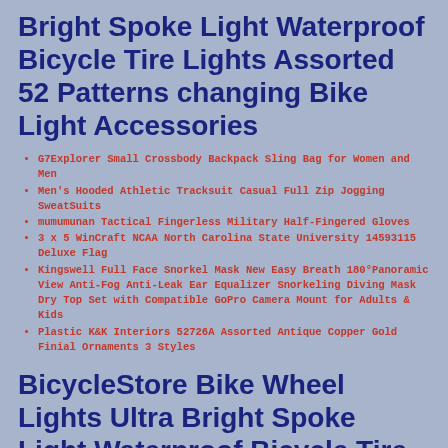Bright Spoke Light Waterproof Bicycle Tire Lights Assorted 52 Patterns changing Bike Light Accessories
G7Explorer Small Crossbody Backpack Sling Bag for Women and Men
Men's Hooded Athletic Tracksuit Casual Full Zip Jogging SweatSuits
mumumunan Tactical Fingerless Military Half-Fingered Gloves
3 x 5 WinCraft NCAA North Carolina State University 14593115 Deluxe Flag
Kingswell Full Face Snorkel Mask New Easy Breath 180°Panoramic View Anti-Fog Anti-Leak Ear Equalizer Snorkeling Diving Mask Dry Top Set with Compatible GoPro Camera Mount for Adults & Kids
Plastic K&K Interiors 52726A Assorted Antique Copper Gold Finial Ornaments 3 Styles
BicycleStore Bike Wheel Lights Ultra Bright Spoke Light Waterproof Bicycle Tire Lights Assorted 52 Patterns changing Bike Light Accessories